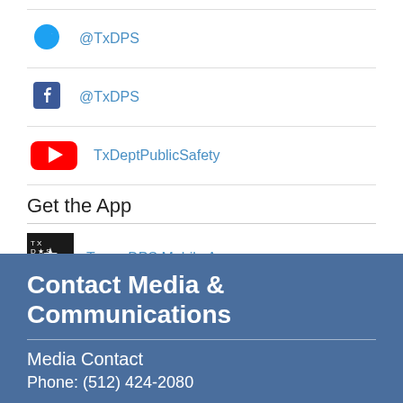@TxDPS (Twitter)
@TxDPS (Facebook)
TxDeptPublicSafety (YouTube)
Get the App
Texas DPS Mobile App
Contact Media & Communications
Media Contact
Phone: (512) 424-2080